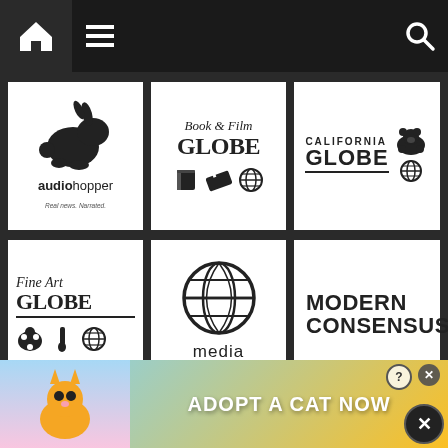[Figure (logo): Navigation bar with home icon, hamburger menu, and search icon on dark background]
[Figure (logo): audiohopper logo - running rabbit silhouette with text 'audiohopper' and tagline 'Real news. Narrated.']
[Figure (logo): Book & Film Globe logo with book, ticket, and globe icons]
[Figure (logo): California Globe logo with bear silhouette and globe icon]
[Figure (logo): Fine Art Globe logo with palette, brush, and globe icons]
[Figure (logo): media globe logo with large globe icon and text 'media GLOBE']
[Figure (logo): MODERN CONSENSUS. logo in bold sans-serif]
[Figure (logo): Partial logo row at bottom - two partially visible logos]
[Figure (advertisement): Cat game advertisement banner with 'ADOPT A CAT NOW' text and close buttons]